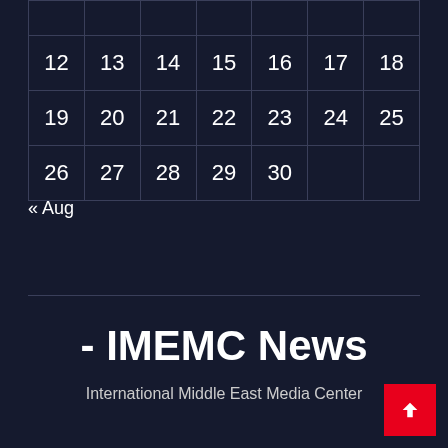|  |  |  |  |  |  |  |
| --- | --- | --- | --- | --- | --- | --- |
|  |  |  |  |  |  |  |
| 12 | 13 | 14 | 15 | 16 | 17 | 18 |
| 19 | 20 | 21 | 22 | 23 | 24 | 25 |
| 26 | 27 | 28 | 29 | 30 |  |  |
« Aug
- IMEMC News
International Middle East Media Center